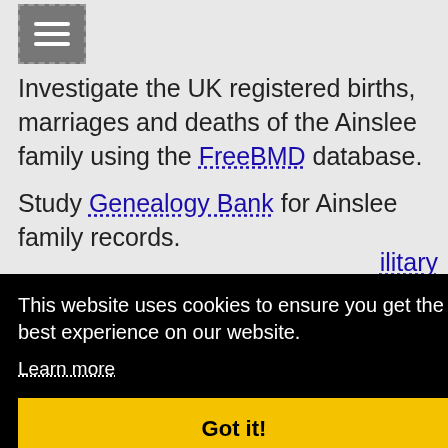[Figure (other): Menu/hamburger icon button with grey background and dashed border]
Investigate the UK registered births, marriages and deaths of the Ainslee family using the FreeBMD database.
Study Genealogy Bank for Ainslee family records.
Look at MyHeritage for Ainslee family data.
This website uses cookies to ensure you get the best experience on our website.
Learn more
Got it!
ilitary